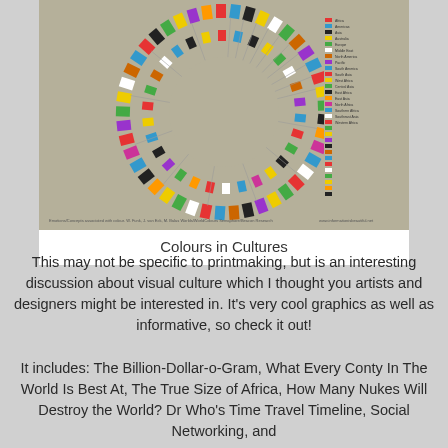[Figure (infographic): Circular radial infographic titled 'Colours in Cultures' showing colored rectangles arranged in a ring pattern representing different cultural associations with colors. Has a legend on the right side with small text.]
Colours in Cultures
This may not be specific to printmaking, but is an interesting discussion about visual culture which I thought you artists and designers might be interested in. It's very cool graphics as well as informative, so check it out!
It includes: The Billion-Dollar-o-Gram, What Every Conty In The World Is Best At, The True Size of Africa, How Many Nukes Will Destroy the World? Dr Who's Time Travel Timeline, Social Networking, and